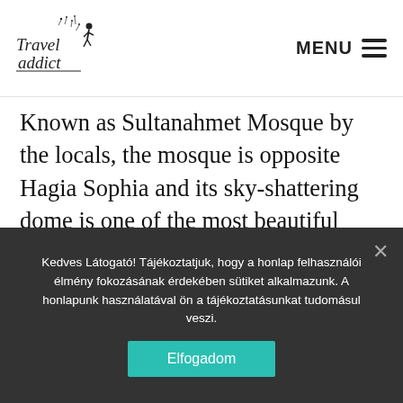Travel Addict | MENU
Known as Sultanahmet Mosque by the locals, the mosque is opposite Hagia Sophia and its sky-shattering dome is one of the most beautiful points in the old town. Built-in the 17th century, the mosque derives its name from the blue tiles that cover its interior and which, together with 260 largely colorful windows, give the building a
Kedves Látogató! Tájékoztatjuk, hogy a honlap felhasználói élmény fokozásának érdekében sütiket alkalmazunk. A honlapunk használatával ön a tájékoztatásunkat tudomásul veszi.
Elfogadom